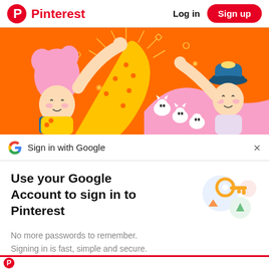Pinterest  Log in  Sign up
[Figure (illustration): Orange background illustration with two cartoon characters giving a high five, pink-haired girl on the left and person with blue hat on right, cats between them, decorative geometric shapes and lines]
Sign in with Google
Use your Google Account to sign in to Pinterest
No more passwords to remember. Signing in is fast, simple and secure.
[Figure (illustration): Google sign-in illustration with a golden key, blue circle, green circle, and pink/red circle]
Continue